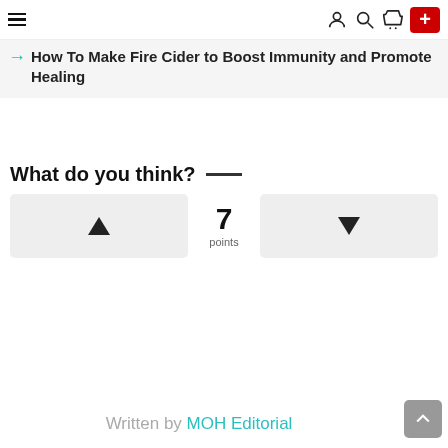Navigation bar with hamburger menu, user icon, search icon, cart icon, and red plus button
→ How To Make Fire Cider to Boost Immunity and Promote Healing
What do you think? —
[Figure (infographic): Vote widget with upvote button (triangle up), 7 points label in center, and downvote button (triangle down)]
Written by MOH Editorial